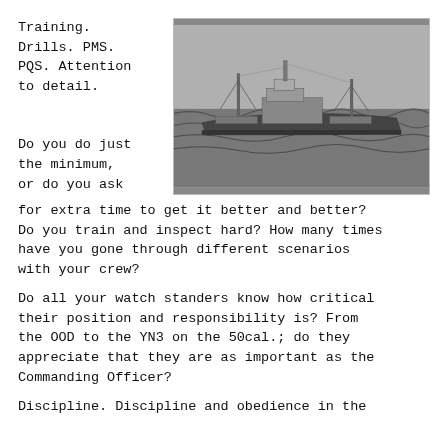Training.
Drills. PMS.
PQS. Attention
to detail.
[Figure (photo): Black and white photograph of a military cargo/supply ship at sea]
Do you do just
the minimum,
or do you ask
for extra time to get it better and better?
Do you train and inspect hard? How many times
have you gone through different scenarios
with your crew?
Do all your watch standers know how critical
their position and responsibility is? From
the OOD to the YN3 on the 50cal.; do they
appreciate that they are as important as the
Commanding Officer?
Discipline. Discipline and obedience in the